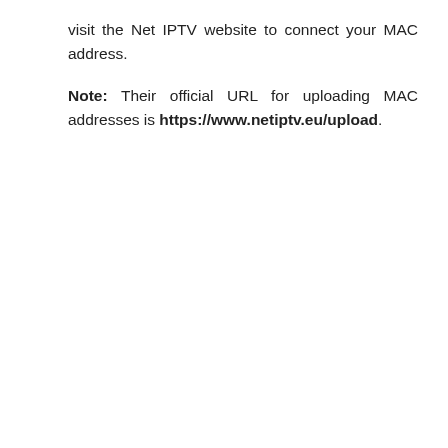visit the Net IPTV website to connect your MAC address.
Note: Their official URL for uploading MAC addresses is https://www.netiptv.eu/upload.